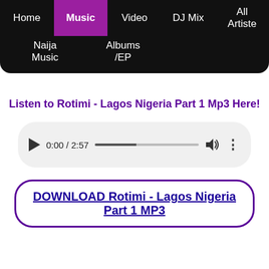Home | Music | Video | DJ Mix | All Artiste | Naija Music | Albums /EP
Listen to Rotimi - Lagos Nigeria Part 1 Mp3 Here!
[Figure (other): Audio player showing 0:00 / 2:57 with play button, progress bar, volume icon, and more options]
DOWNLOAD Rotimi - Lagos Nigeria Part 1 MP3
Advertisement